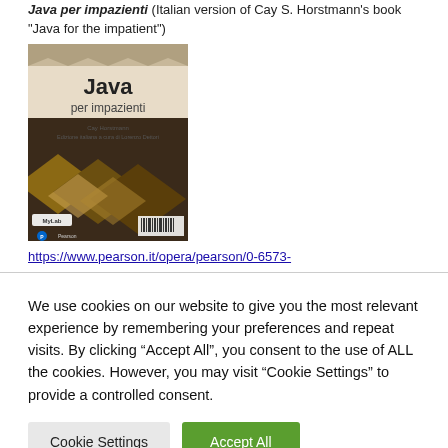Java per impazienti (Italian version of Cay S. Horstmann's book "Java for the impatient")
[Figure (photo): Book cover of 'Java per impazienti' by Cay Horstmann, Italian edition edited by Lorenzo Dettori, published by Pearson with MyLab. Cover shows geometric diamond shapes in brown/wood tones on dark background.]
https://www.pearson.it/opera/pearson/0-6573-
We use cookies on our website to give you the most relevant experience by remembering your preferences and repeat visits. By clicking “Accept All”, you consent to the use of ALL the cookies. However, you may visit “Cookie Settings” to provide a controlled consent.
Cookie Settings
Accept All